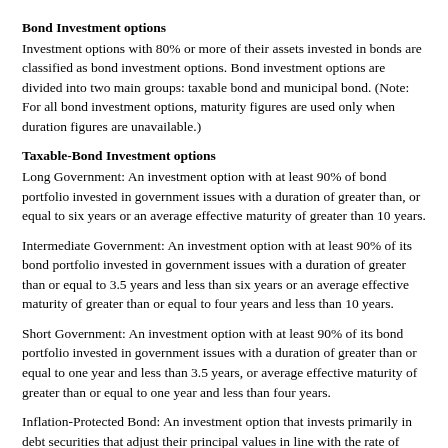Bond Investment options
Investment options with 80% or more of their assets invested in bonds are classified as bond investment options. Bond investment options are divided into two main groups: taxable bond and municipal bond. (Note: For all bond investment options, maturity figures are used only when duration figures are unavailable.)
Taxable-Bond Investment options
Long Government: An investment option with at least 90% of bond portfolio invested in government issues with a duration of greater than, or equal to six years or an average effective maturity of greater than 10 years.
Intermediate Government: An investment option with at least 90% of its bond portfolio invested in government issues with a duration of greater than or equal to 3.5 years and less than six years or an average effective maturity of greater than or equal to four years and less than 10 years.
Short Government: An investment option with at least 90% of its bond portfolio invested in government issues with a duration of greater than or equal to one year and less than 3.5 years, or average effective maturity of greater than or equal to one year and less than four years.
Inflation-Protected Bond: An investment option that invests primarily in debt securities that adjust their principal values in line with the rate of inflation. These bonds can be issued by any organization, but the U.S. Treasury is currently the largest issuer for these types of securities.
Long-Term Bond: An investment option that focuses ...